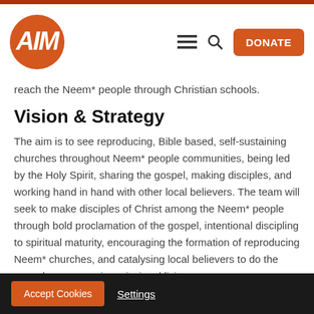[Figure (logo): AIM (Africa Inland Mission) logo — white stylized text on orange circle]
reach the Neem* people through Christian schools.
Vision & Strategy
The aim is to see reproducing, Bible based, self-sustaining churches throughout Neem* people communities, being led by the Holy Spirit, sharing the gospel, making disciples, and working hand in hand with other local believers. The team will seek to make disciples of Christ among the Neem* people through bold proclamation of the gospel, intentional discipling to spiritual maturity, encouraging the formation of reproducing Neem* churches, and catalysing local believers to do the same by encouraging missional living.
Accept Cookies  Settings